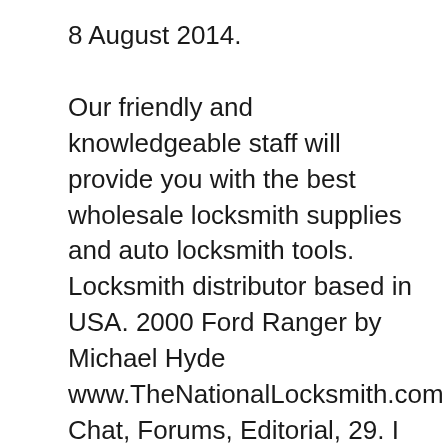8 August 2014.
Our friendly and knowledgeable staff will provide you with the best wholesale locksmith supplies and auto locksmith tools. Locksmith distributor based in USA. 2000 Ford Ranger by Michael Hyde www.TheNationalLocksmith.com Chat, Forums, Editorial, 29. I use a Framon impressioning tool and an drive. 75 megabytes of hard drive space. Installable from 17 diskettes which you can create from the CD. 16 megabytes of ram.
ZenFone Max Pro (M1) is the next-generation smartphone with outstanding...